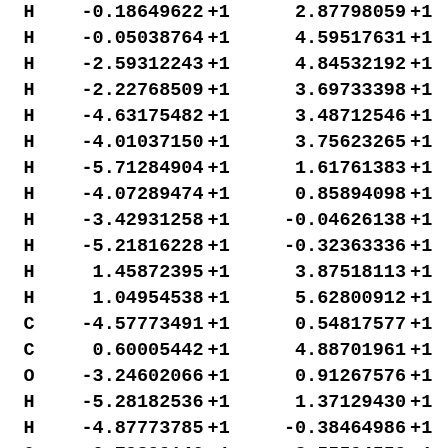| Atom | X |  | Y |  |
| --- | --- | --- | --- | --- |
| H | -0.18649622 | +1 | 2.87798059 | +1 |
| H | -0.05038764 | +1 | 4.59517631 | +1 |
| H | -2.59312243 | +1 | 4.84532192 | +1 |
| H | -2.22768509 | +1 | 3.69733398 | +1 |
| H | -4.63175482 | +1 | 3.48712546 | +1 |
| H | -4.01037150 | +1 | 3.75623265 | +1 |
| H | -5.71284904 | +1 | 1.61761383 | +1 |
| H | -4.07289474 | +1 | 0.85894098 | +1 |
| H | -3.42931258 | +1 | -0.04626138 | +1 |
| H | -5.21816228 | +1 | -0.32363336 | +1 |
| H | 1.45872395 | +1 | 3.87518113 | +1 |
| H | 1.04954538 | +1 | 5.62800912 | +1 |
| C | -4.57773491 | +1 | 0.54817577 | +1 |
| C | 0.60005442 | +1 | 4.88701961 | +1 |
| O | -3.24602066 | +1 | 0.91267576 | +1 |
| H | -5.28182536 | +1 | 1.37129430 | +1 |
| H | -4.87773785 | +1 | -0.38464986 | +1 |
| O | 0.79899146 | +1 | 3.55594559 | +1 |
| H | -0.41548545 | +1 | 5.23058991 | +1 |
| H | 1.36534508 | +1 | 5.57319460 | +1 |